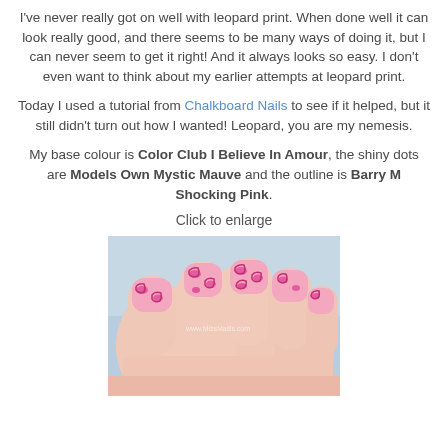I've never really got on well with leopard print. When done well it can look really good, and there seems to be many ways of doing it, but I can never seem to get it right! And it always looks so easy. I don't even want to think about my earlier attempts at leopard print.
Today I used a tutorial from Chalkboard Nails to see if it helped, but it still didn't turn out how I wanted! Leopard, you are my nemesis.
My base colour is Color Club I Believe In Amour, the shiny dots are Models Own Mystic Mauve and the outline is Barry M Shocking Pink.
Click to enlarge
[Figure (photo): Close-up photo of a hand with pink leopard print nail art on fingers, showing pink base with hot pink/fuchsia leopard spots and outlines.]